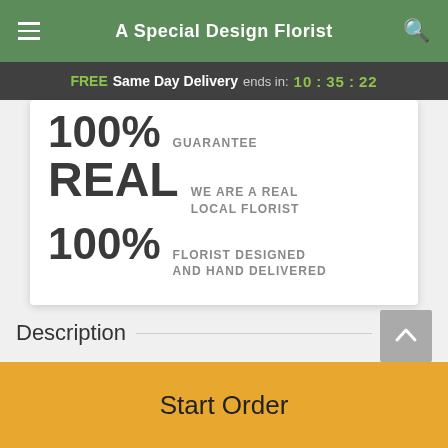A Special Design Florist
FREE Same Day Delivery ends in: 10:35:22
100% GUARANTEE
REAL WE ARE A REAL LOCAL FLORIST
100% FLORIST DESIGNED AND HAND DELIVERED
Description
You'll having them walking on sunshine with this luscious array of summery blooms! Choose this sunny blend of
Start Order